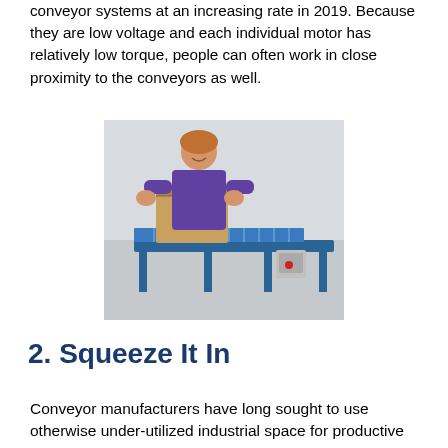conveyor systems at an increasing rate in 2019. Because they are low voltage and each individual motor has relatively low torque, people can often work in close proximity to the conveyors as well.
[Figure (photo): A woman in a purple jacket places a cardboard box onto a blue roller conveyor system in an industrial setting. A control box is visible on the side of the conveyor.]
2. Squeeze It In
Conveyor manufacturers have long sought to use otherwise under-utilized industrial space for productive